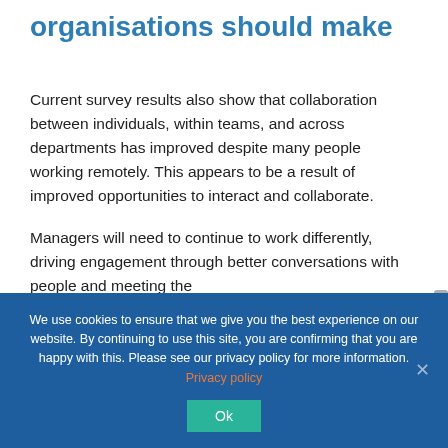organisations should make
Current survey results also show that collaboration between individuals, within teams, and across departments has improved despite many people working remotely. This appears to be a result of improved opportunities to interact and collaborate.
Managers will need to continue to work differently, driving engagement through better conversations with people and meeting the
We use cookies to ensure that we give you the best experience on our website. By continuing to use this site, you are confirming that you are happy with this. Please see our privacy policy for more information. Privacy policy